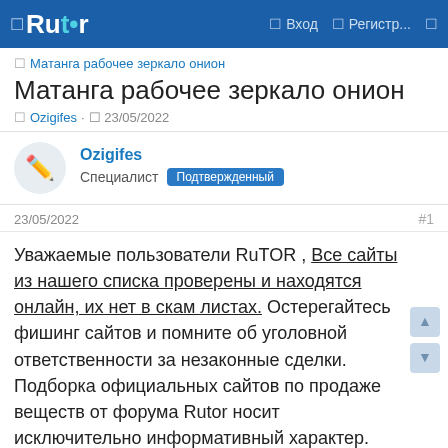Rutor — Вход — Регистр...
Матанга рабочее зеркало онион
Матанга рабочее зеркало онион
Ozigifes · 23/05/2022
Ozigifes
Специалист Подтвержденный
23/05/2022 #1
Уважаемые пользователи RuTOR , Все сайты из нашего списка проверены и находятся онлайн, их нет в скам листах. Остерегайтесь фишинг сайтов и помните об уголовной ответственности за незаконные сделки. Подборка официальных сайтов по продаже веществ от форума Rutor носит исключительно информативный характер.